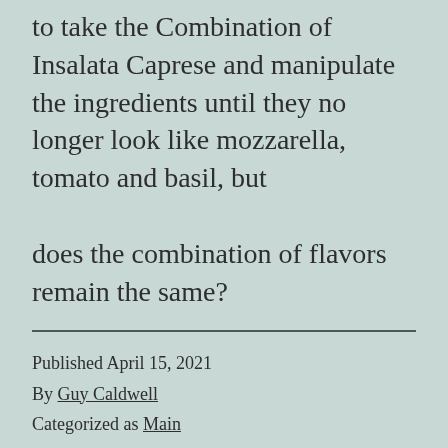to be inspired by new ingredients? Is it inaudtic to take the Combination of Insalata Caprese and manipulate the ingredients until they no longer look like mozzarella, tomato and basil, but does the combination of flavors remain the same?
Published April 15, 2021
By Guy Caldwell
Categorized as Main